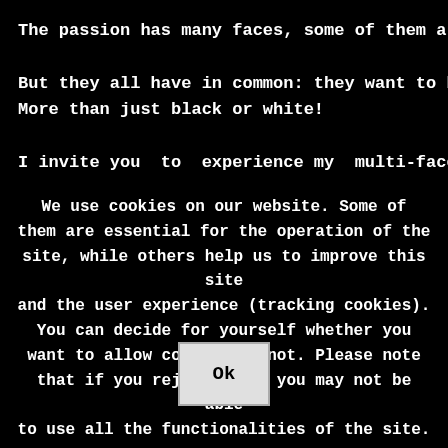The passion has many faces, some of them are cruel, s
But they all have in common: they want to be lived!
More than just black or white!
I invite you to experience my multi-faceted world of
We use cookies on our website. Some of them are essential for the operation of the site, while others help us to improve this site and the user experience (tracking cookies). You can decide for yourself whether you want to allow cookies or not. Please note that if you reject them, you may not be able to use all the functionalities of the site.
Ok